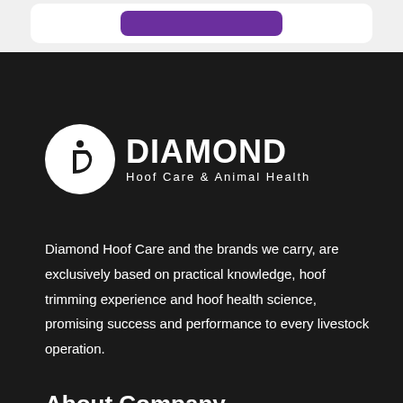[Figure (logo): Purple rounded rectangle button inside a white card on a light gray background]
[Figure (logo): Diamond Hoof Care & Animal Health logo: white circle with stylized D icon, bold white DIAMOND text, and subtitle Hoof Care & Animal Health on dark background]
Diamond Hoof Care and the brands we carry, are exclusively based on practical knowledge, hoof trimming experience and hoof health science, promising success and performance to every livestock operation.
About Company